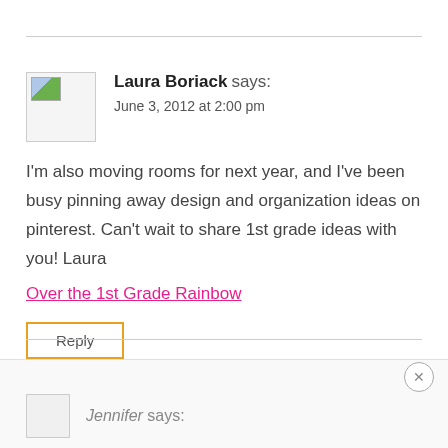Laura Boriack says: June 3, 2012 at 2:00 pm
I'm also moving rooms for next year, and I've been busy pinning away design and organization ideas on pinterest. Can't wait to share 1st grade ideas with you! Laura
Over the 1st Grade Rainbow
Reply
Jennifer says: